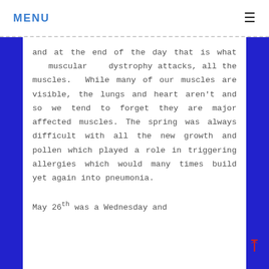MENU
and at the end of the day that is what muscular dystrophy attacks, all the muscles. While many of our muscles are visible, the lungs and heart aren't and so we tend to forget they are major affected muscles. The spring was always difficult with all the new growth and pollen which played a role in triggering allergies which would many times build yet again into pneumonia.

May 26th was a Wednesday and